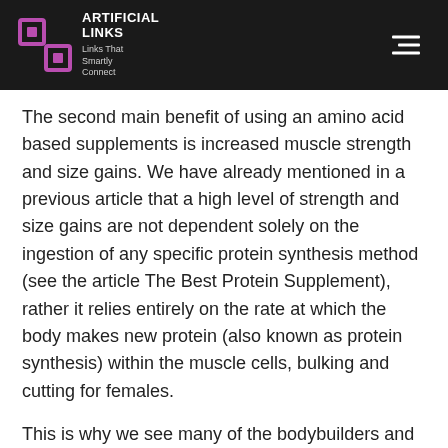ARTIFICIAL LINKS — Links That Smartly Connect
The second main benefit of using an amino acid based supplements is increased muscle strength and size gains. We have already mentioned in a previous article that a high level of strength and size gains are not dependent solely on the ingestion of any specific protein synthesis method (see the article The Best Protein Supplement), rather it relies entirely on the rate at which the body makes new protein (also known as protein synthesis) within the muscle cells, bulking and cutting for females.
This is why we see many of the bodybuilders and fitness athletes make gains on their own by following their own personal diet, bulking agent traduction. Their body creates all the protein and then they simply add that to the